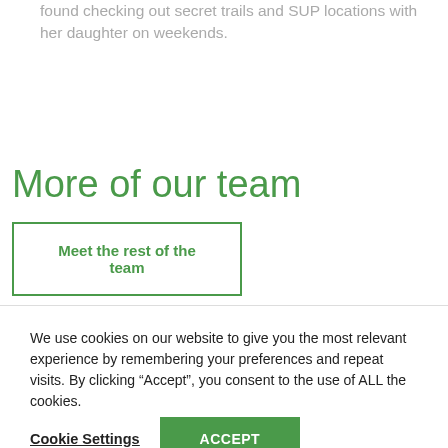found checking out secret trails and SUP locations with her daughter on weekends.
More of our team
Meet the rest of the team
We use cookies on our website to give you the most relevant experience by remembering your preferences and repeat visits. By clicking “Accept”, you consent to the use of ALL the cookies.
Cookie Settings
ACCEPT